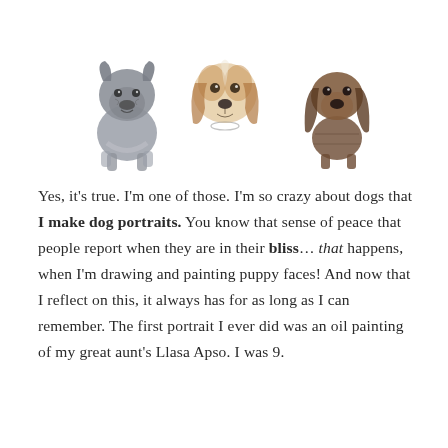[Figure (illustration): Three watercolor/ink dog illustrations side by side: a grey French Bulldog on the left, a beagle face in the center, and a brown dachshund on the right.]
Yes, it's true. I'm one of those. I'm so crazy about dogs that I make dog portraits. You know that sense of peace that people report when they are in their bliss… that happens, when I'm drawing and painting puppy faces! And now that I reflect on this, it always has for as long as I can remember. The first portrait I ever did was an oil painting of my great aunt's Llasa Apso. I was 9.